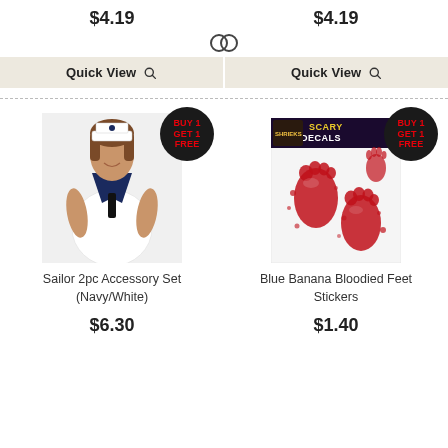$4.19
$4.19
Quick View
Quick View
[Figure (photo): Woman wearing sailor 2pc accessory set in navy and white]
[Figure (photo): Blue Banana Bloodied Feet Stickers package showing red bloody footprint decals]
Sailor 2pc Accessory Set (Navy/White)
Blue Banana Bloodied Feet Stickers
$6.30
$1.40